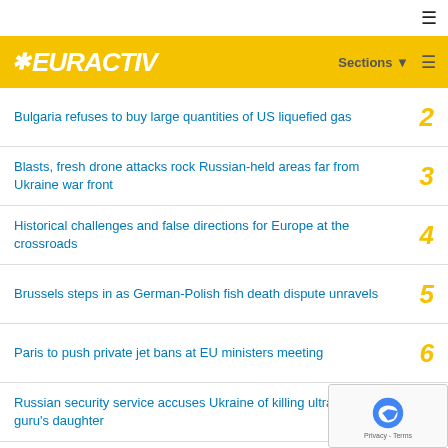EURACTIV
Bulgaria refuses to buy large quantities of US liquefied gas  2
Blasts, fresh drone attacks rock Russian-held areas far from Ukraine war front  3
Historical challenges and false directions for Europe at the crossroads  4
Brussels steps in as German-Polish fish death dispute unravels  5
Paris to push private jet bans at EU ministers meeting  6
Russian security service accuses Ukraine of killing ultra-nationalist guru's daughter  7
Berlin slashes value added tax on natural gas despite supply woes  8